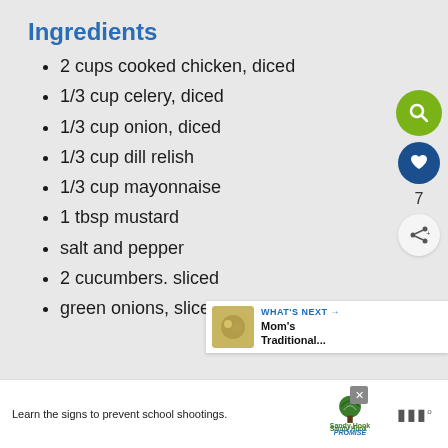Ingredients
2 cups cooked chicken, diced
1/3 cup celery, diced
1/3 cup onion, diced
1/3 cup dill relish
1/3 cup mayonnaise
1 tbsp mustard
salt and pepper
2 cucumbers. sliced
green onions, sliced
[Figure (infographic): UI sidebar icons: green search button, dark blue heart/favorite button with count 7, share button]
[Figure (infographic): What's Next promo: thumbnail of food dish, text 'WHAT'S NEXT → Mom's Traditional...']
[Figure (infographic): Advertisement banner: 'Learn the signs to prevent school shootings.' with Sandy Hook Promise tree logo]